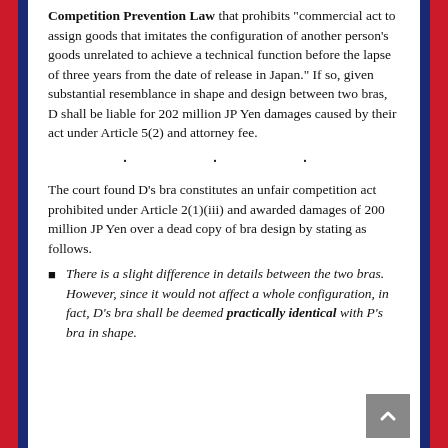Competition Prevention Law that prohibits "commercial act to assign goods that imitates the configuration of another person's goods unrelated to achieve a technical function before the lapse of three years from the date of release in Japan." If so, given substantial resemblance in shape and design between two bras, D shall be liable for 202 million JP Yen damages caused by their act under Article 5(2) and attorney fee.
. . .
The court found D's bra constitutes an unfair competition act prohibited under Article 2(1)(iii) and awarded damages of 200 million JP Yen over a dead copy of bra design by stating as follows.
There is a slight difference in details between the two bras. However, since it would not affect a whole configuration, in fact, D's bra shall be deemed practically identical with P's bra in shape.